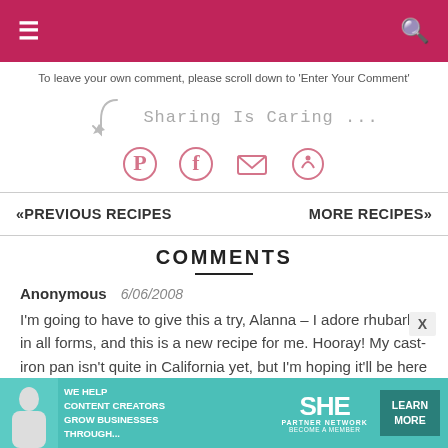Navigation header with menu and search icons
To leave your own comment, please scroll down to 'Enter Your Comment'
[Figure (infographic): Sharing Is Caring ... with Pinterest, Facebook, email, and share icons]
«PREVIOUS RECIPES   MORE RECIPES»
COMMENTS
Anonymous  6/06/2008
I'm going to have to give this a try, Alanna – I adore rhubarb in all forms, and this is a new recipe for me. Hooray! My cast-iron pan isn't quite in California yet, but I'm hoping it'll be here soon. In
[Figure (infographic): SHE Partner Network advertisement banner: We help content creators grow businesses through...]